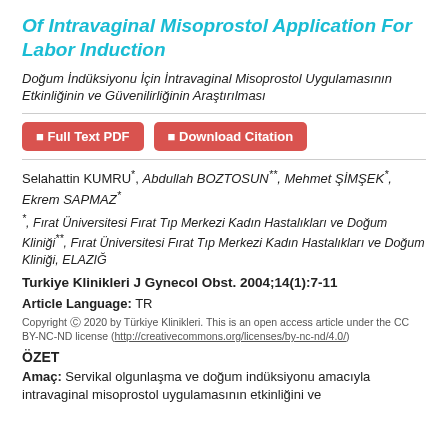Of Intravaginal Misoprostol Application For Labor Induction
Doğum İndüksiyonu İçin İntravaginal Misoprostol Uygulamasının Etkinliğinin ve Güvenilirliğinin Araştırılması
Full Text PDF | Download Citation
Selahattin KUMRU*, Abdullah BOZTOSUN**, Mehmet ŞİMŞEK*, Ekrem SAPMAZ*
*, Fırat Üniversitesi Fırat Tıp Merkezi Kadın Hastalıkları ve Doğum Kliniği**, Fırat Üniversitesi Fırat Tıp Merkezi Kadın Hastalıkları ve Doğum Kliniği, ELAZIĞ
Turkiye Klinikleri J Gynecol Obst. 2004;14(1):7-11
Article Language: TR
Copyright © 2020 by Türkiye Klinikleri. This is an open access article under the CC BY-NC-ND license (http://creativecommons.org/licenses/by-nc-nd/4.0/)
ÖZET
Amaç: Servikal olgunlaşma ve doğum indüksiyonu amacıyla intravaginal misoprostol uygulamasının etkinliğini ve